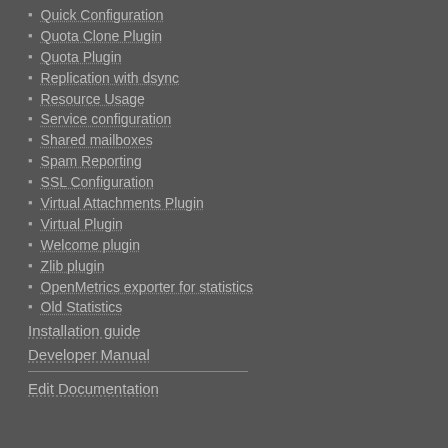Quick Configuration
Quota Clone Plugin
Quota Plugin
Replication with dsync
Resource Usage
Service configuration
Shared mailboxes
Spam Reporting
SSL Configuration
Virtual Attachments Plugin
Virtual Plugin
Welcome plugin
Zlib plugin
OpenMetrics exporter for statistics
Old Statistics
Installation guide
Developer Manual
Edit Documentation